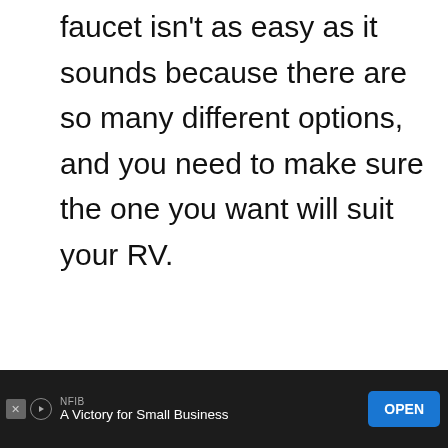faucet isn't as easy as it sounds because there are so many different options, and you need to make sure the one you want will suit your RV.
When you are dealing with a recreational vehicle, there is not much space to work. In the kitchen of an RV, space is especially limited, so you need
[Figure (other): Red circular heart (like) button and white circular share button with share icon, floating on the right side of the page]
[Figure (other): What's Next widget showing a circular thumbnail of an RV sink and text 'The Best RV Sink For You...']
[Figure (other): NFIB advertisement banner: 'A Victory for Small Business' with blue OPEN button on dark background]